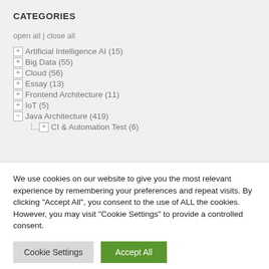CATEGORIES
open all | close all
Artificial Intelligence AI (15)
Big Data (55)
Cloud (56)
Essay (13)
Frontend Architecture (11)
IoT (5)
Java Architecture (419)
CI & Automation Test (6)
We use cookies on our website to give you the most relevant experience by remembering your preferences and repeat visits. By clicking “Accept All”, you consent to the use of ALL the cookies. However, you may visit “Cookie Settings” to provide a controlled consent.